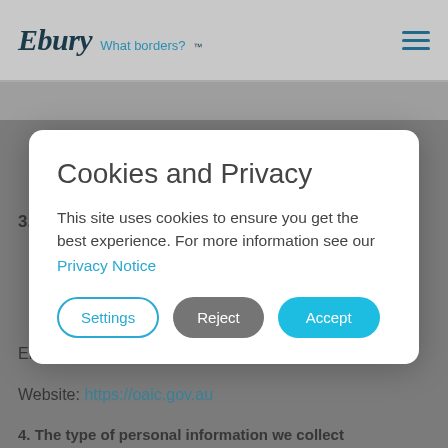Ebury What borders? ™
3. How to complain
[Figure (screenshot): Cookie and Privacy consent modal dialog with title 'Cookies and Privacy', body text, Privacy Notice link, and three buttons: Settings, Reject, Accept]
Email: enquiries@oaic.gov.au
Website: https://oaic.gov.au
4. The type of personal information we collect